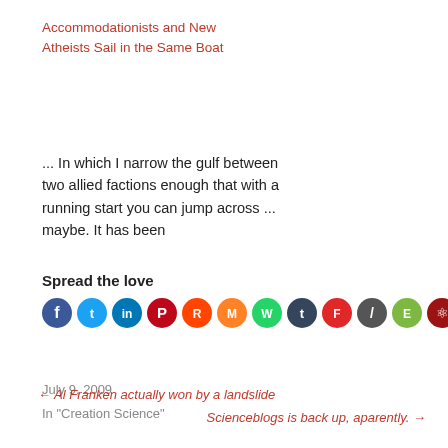Accommodationists and New Atheists Sail in the Same Boat
... In which I narrow the gulf between two allied factions enough that with a running start you can jump across ... maybe. It has been
July 9, 2009
In "Creation Science"
Spread the love
[Figure (infographic): Row of social media sharing icons: Facebook (dark blue), Twitter (light blue), LinkedIn (dark blue), Pinterest (red), Reddit (orange-red), Mix (orange), WhatsApp (green), Tumblr (dark blue), Flipboard (red), Digg/Slashdot (dark grey), Evernote (green), Mendeley (dark red), Email (olive green)]
← Al Franken actually won by a landslide
Scienceblogs is back up, aparently. →